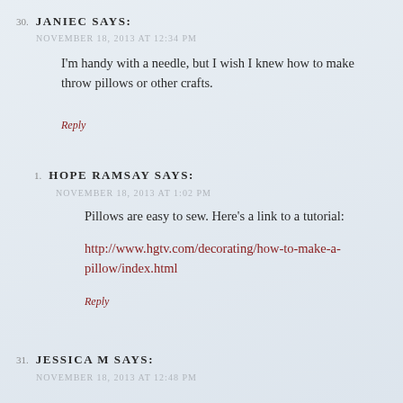30. JANIEC SAYS:
NOVEMBER 18, 2013 AT 12:34 PM
I'm handy with a needle, but I wish I knew how to make throw pillows or other crafts.
Reply
1. HOPE RAMSAY SAYS:
NOVEMBER 18, 2013 AT 1:02 PM
Pillows are easy to sew. Here's a link to a tutorial:
http://www.hgtv.com/decorating/how-to-make-a-pillow/index.html
Reply
31. JESSICA M SAYS:
NOVEMBER 18, 2013 AT 12:48 PM